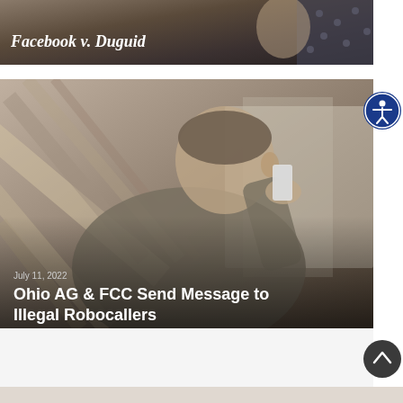[Figure (photo): Top banner image with italic bold text 'Facebook v. Duguid' overlaid on a dark background with a person in the upper right corner wearing a polka-dot blouse]
[Figure (photo): Large card image of a man in a grey blazer holding a smartphone to his ear, with diagonal wooden/architectural elements in the background. Overlaid text shows date 'July 11, 2022' and headline 'Ohio AG & FCC Send Message to Illegal Robocallers']
July 11, 2022
Ohio AG & FCC Send Message to Illegal Robocallers